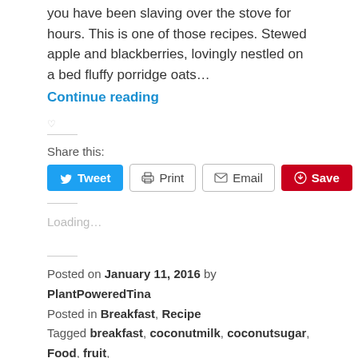you have been slaving over the stove for hours. This is one of those recipes. Stewed apple and blackberries, lovingly nestled on a bed fluffy porridge oats…
Continue reading
Share this:
Tweet | Print | Email | Save
Loading…
Posted on January 11, 2016 by PlantPoweredTina
Posted in Breakfast, Recipe
Tagged breakfast, coconutmilk, coconutsugar, Food, fruit, Healthy, nuts, oats, porridge, recipe, vegan, Vegetarian.
Leave a comment